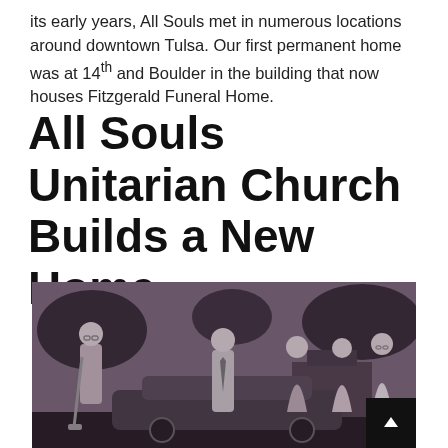its early years, All Souls met in numerous locations around downtown Tulsa. Our first permanent home was at 14th and Boulder in the building that now houses Fitzgerald Funeral Home.
All Souls Unitarian Church Builds a New Home
[Figure (photo): Black and white photograph of five people standing outdoors, appearing to be at a groundbreaking ceremony. A man on the left holds a shovel and is looking down. Four others stand nearby.]